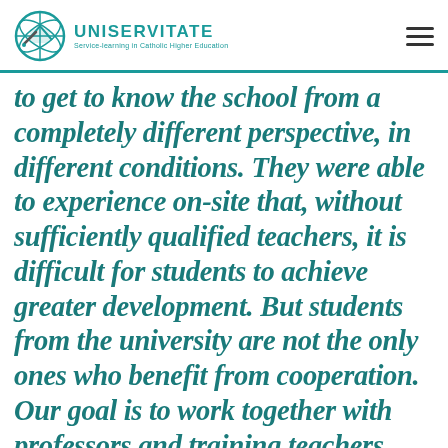UNISERVITATE — Service-learning in Catholic Higher Education
to get to know the school from a completely different perspective, in different conditions. They were able to experience on-site that, without sufficiently qualified teachers, it is difficult for students to achieve greater development. But students from the university are not the only ones who benefit from cooperation. Our goal is to work together with professors and training teachers from our university and with